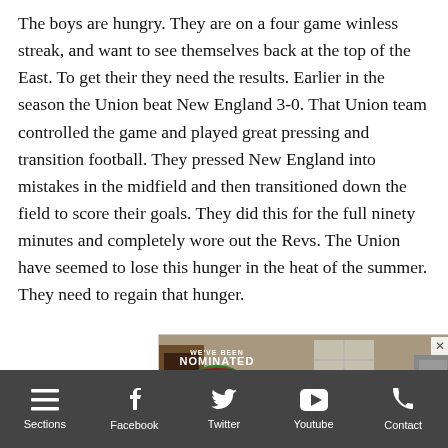The boys are hungry. They are on a four game winless streak, and want to see themselves back at the top of the East. To get their they need the results. Earlier in the season the Union beat New England 3-0. That Union team controlled the game and played great pressing and transition football. They pressed New England into mistakes in the midfield and then transitioned down the field to score their goals. They did this for the full ninety minutes and completely wore out the Revs. The Union have seemed to lose this hunger in the heat of the summer. They need to regain that hunger.
[Figure (photo): An advertisement showing an interior room with hardwood floors and a kitchen island, with a 'We've Been Nominated — metro Philly's Best — metrophlybest.com — 2022' badge overlaid in the top-left corner, and an X close button in the top-right.]
Sections | Facebook | Twitter | Youtube | Contact